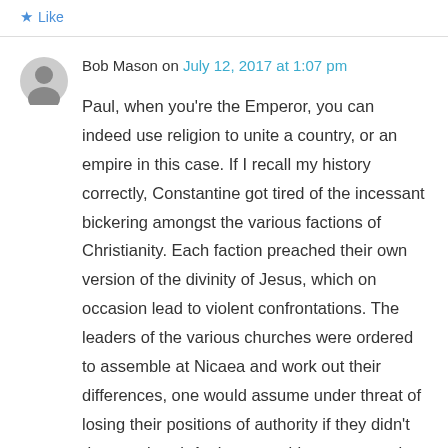Like
Bob Mason on July 12, 2017 at 1:07 pm
Paul, when you're the Emperor, you can indeed use religion to unite a country, or an empire in this case. If I recall my history correctly, Constantine got tired of the incessant bickering amongst the various factions of Christianity. Each faction preached their own version of the divinity of Jesus, which on occasion lead to violent confrontations. The leaders of the various churches were ordered to assemble at Nicaea and work out their differences, one would assume under threat of losing their positions of authority if they didn't do as ordered. And one would presume under threat of loss of authority